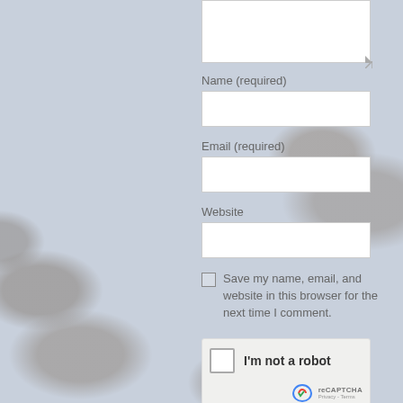[Figure (screenshot): Web form screenshot showing comment form fields with decorative background of grey mushroom-like objects on light blue-grey background]
Name (required)
Email (required)
Website
Save my name, email, and website in this browser for the next time I comment.
I'm not a robot
reCAPTCHA